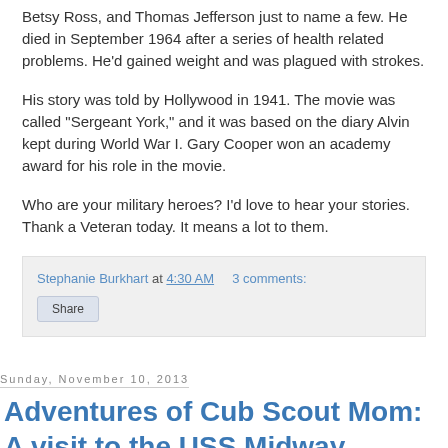Betsy Ross, and Thomas Jefferson just to name a few. He died in September 1964 after a series of health related problems. He'd gained weight and was plagued with strokes.
His story was told by Hollywood in 1941. The movie was called "Sergeant York," and it was based on the diary Alvin kept during World War I. Gary Cooper won an academy award for his role in the movie.
Who are your military heroes? I'd love to hear your stories. Thank a Veteran today. It means a lot to them.
Stephanie Burkhart at 4:30 AM    3 comments:
Share
Sunday, November 10, 2013
Adventures of Cub Scout Mom: A visit to the USS Midway #USSMidway #veteransday